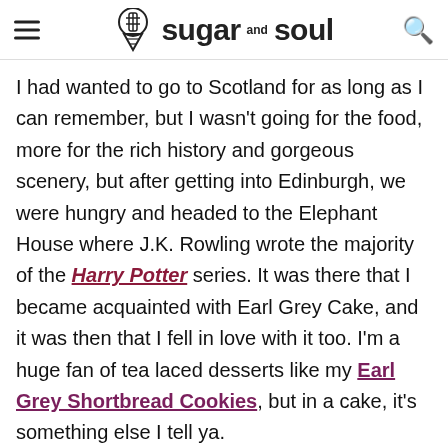sugar and soul
I had wanted to go to Scotland for as long as I can remember, but I wasn't going for the food, more for the rich history and gorgeous scenery, but after getting into Edinburgh, we were hungry and headed to the Elephant House where J.K. Rowling wrote the majority of the Harry Potter series. It was there that I became acquainted with Earl Grey Cake, and it was then that I fell in love with it too. I'm a huge fan of tea laced desserts like my Earl Grey Shortbread Cookies, but in a cake, it's something else I tell ya.